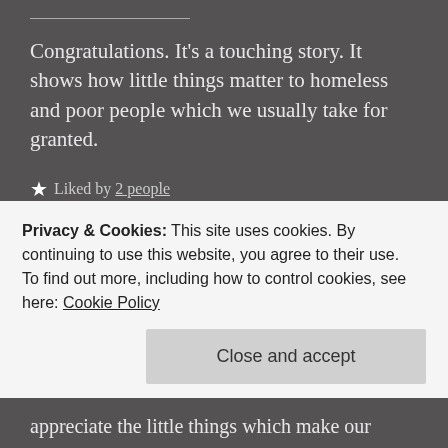Congratulations. It's a touching story. It shows how little things matter to homeless and poor people which we usually take for granted.
★ Liked by 2 people
A.S.
December 21, 2019
Reply
Privacy & Cookies: This site uses cookies. By continuing to use this website, you agree to their use.
To find out more, including how to control cookies, see here: Cookie Policy
Close and accept
appreciate the little things which make our